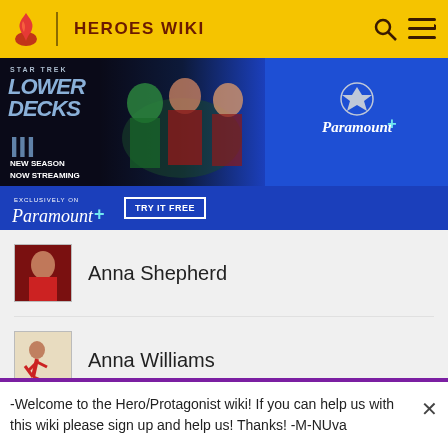HEROES WIKI
[Figure (screenshot): Star Trek Lower Decks Season 3 advertisement banner for Paramount+ streaming service]
Anna Shepherd
Anna Williams
Anne Boonchuy
-Welcome to the Hero/Protagonist wiki! If you can help us with this wiki please sign up and help us! Thanks! -M-NUva